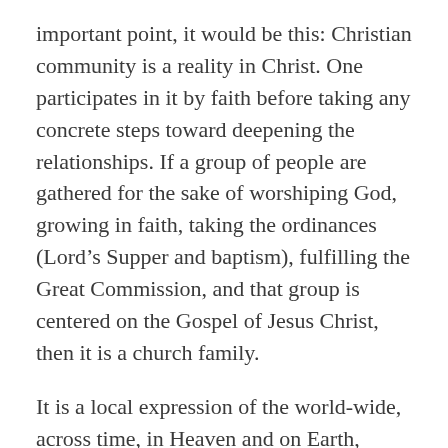important point, it would be this: Christian community is a reality in Christ. One participates in it by faith before taking any concrete steps toward deepening the relationships. If a group of people are gathered for the sake of worshiping God, growing in faith, taking the ordinances (Lord's Supper and baptism), fulfilling the Great Commission, and that group is centered on the Gospel of Jesus Christ, then it is a church family.
It is a local expression of the world-wide, across time, in Heaven and on Earth, Body of Christ.  God has assembled it. That church is a gift from him to the members. Whatever shape it is going to take will be by his grace, and for the sake of his glory. Ours is to be thankful for the fact of its existence, and for whatever it might look like at any given time. The relationships are bound by Christ and what he has done. The